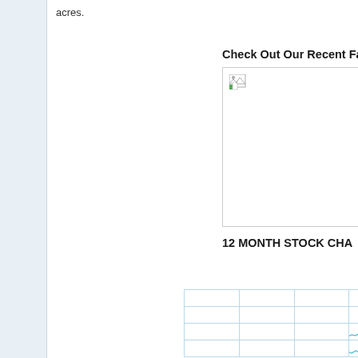acres.
Check Out Our Recent Fact
[Figure (photo): Image placeholder with broken image icon in top-left corner, white background with gray border]
12 MONTH STOCK CHA
|  |  |  |  |
|  |  |  |  |
|  |  |  |  |
|  |  |  |  |